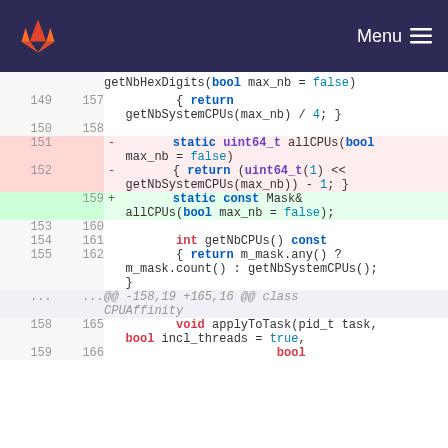GitLab Menu
[Figure (screenshot): GitLab code diff view showing changes to CPUAffinity class methods, including removal of allCPUs static method returning uint64_t and addition of static const Mask& allCPUs method, along with getNbCPUs and applyToTask methods.]